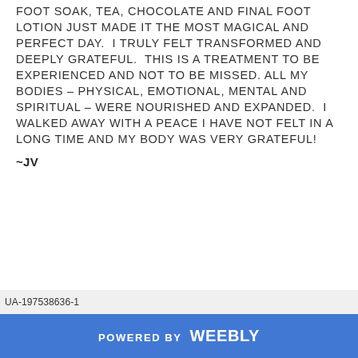FOOT SOAK, TEA, CHOCOLATE AND FINAL FOOT LOTION JUST MADE IT THE MOST MAGICAL AND PERFECT DAY.  I TRULY FELT TRANSFORMED AND DEEPLY GRATEFUL.  THIS IS A TREATMENT TO BE EXPERIENCED AND NOT TO BE MISSED. ALL MY BODIES – PHYSICAL, EMOTIONAL, MENTAL AND SPIRITUAL – WERE NOURISHED AND EXPANDED.  I WALKED AWAY WITH A PEACE I HAVE NOT FELT IN A LONG TIME AND MY BODY WAS VERY GRATEFUL!
~JV
UA-197538636-1
POWERED BY weebly